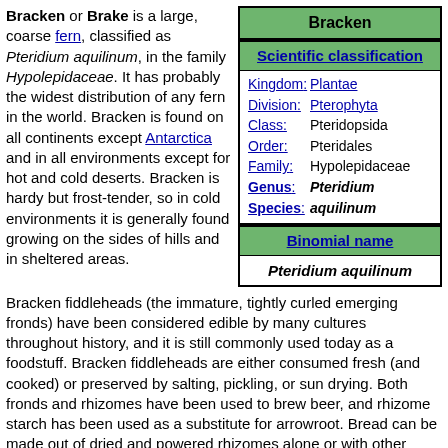Bracken or Brake is a large, coarse fern, classified as Pteridium aquilinum, in the family Hypolepidaceae. It has probably the widest distribution of any fern in the world. Bracken is found on all continents except Antarctica and in all environments except for hot and cold deserts. Bracken is hardy but frost-tender, so in cold environments it is generally found growing on the sides of hills and in sheltered areas.
| Bracken |
| --- |
| Scientific classification |
| Kingdom: | Plantae |
| Division: | Pterophyta |
| Class: | Pteridopsida |
| Order: | Pteridales |
| Family: | Hypolepidaceae |
| Genus: | Pteridium |
| Species: | aquilinum |
| Binomial name |
| Pteridium aquilinum |
Bracken fiddleheads (the immature, tightly curled emerging fronds) have been considered edible by many cultures throughout history, and it is still commonly used today as a foodstuff. Bracken fiddleheads are either consumed fresh (and cooked) or preserved by salting, pickling, or sun drying. Both fronds and rhizomes have been used to brew beer, and rhizome starch has been used as a substitute for arrowroot. Bread can be made out of dried and powered rhizomes alone or with other flour. American Indians cooked the rhizomes, then peeled and ate them or pounded the starchy fiber into flour. In Japan starch from the rhizomes is used to make confections.